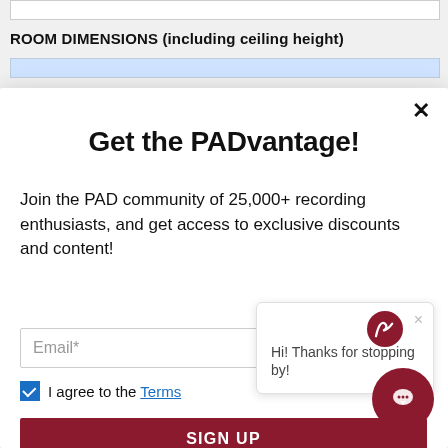ROOM DIMENSIONS (including ceiling height)
Get the PADvantage!
Join the PAD community of 25,000+ recording enthusiasts, and get access to exclusive discounts and content!
Email*
I agree to the Terms
SIGN UP
powered by MailMunch
Hi! Thanks for stopping by!